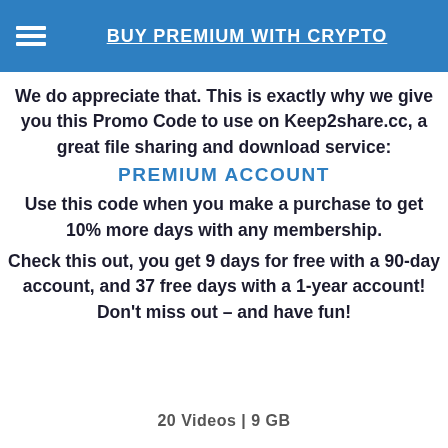BUY PREMIUM WITH CRYPTO
We do appreciate that. This is exactly why we give you this Promo Code to use on Keep2share.cc, a great file sharing and download service:
PREMIUM ACCOUNT
Use this code when you make a purchase to get 10% more days with any membership.
Check this out, you get 9 days for free with a 90-day account, and 37 free days with a 1-year account! Don't miss out – and have fun!
20 Videos | 9 GB